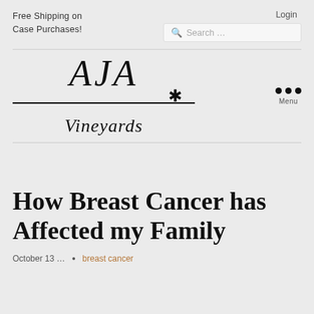Free Shipping on Case Purchases!
Login
[Figure (logo): AJA Vineyards logo with italic serif lettering and decorative horizontal line with flourish]
Menu
How Breast Cancer has Affected my Family
breast cancer